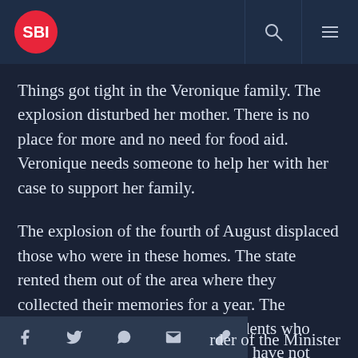SBI
Things got tight in the Veronique family. The explosion disturbed her mother. There is no place for more and no need for food aid. Veronique needs someone to help her with her case to support her family.
The explosion of the fourth of August displaced those who were in these homes. The state rented them out of the area where they collected their memories for a year. The deadline has expired, and the residents who were not compensated by the state have not returned. The mayor of the region [cut off] rder of the Minister